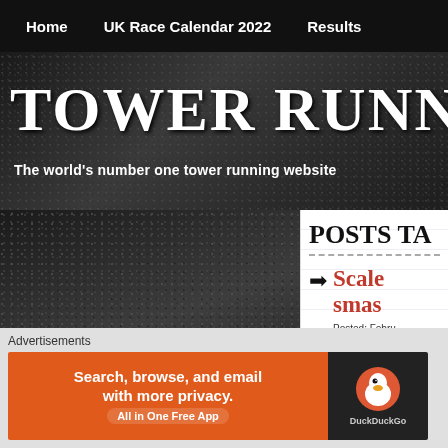Home  UK Race Calendar 2022  Results
TOWER RUNNING
The world's number one tower running website
[Figure (screenshot): Dark textured background with search bar reading 'search this site' with arrow, and black footer bar with 'TOWER RUNNING UK' logo]
POSTS TA
Scale smas
Posted: Febru
Tags: Alexis T
Advertisements
[Figure (screenshot): DuckDuckGo advertisement banner: 'Search, browse, and email with more privacy. All in One Free App' on orange background, DuckDuckGo logo on dark background]